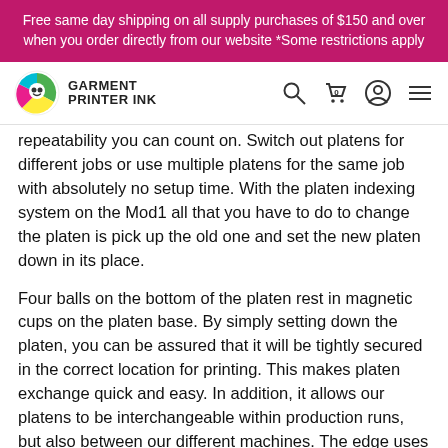Free same day shipping on all supply purchases of $150 and over when you order directly from our website *Some restrictions apply
[Figure (logo): Garment Printer Ink logo with colorful circular icon and text GARMENT PRINTER INK]
repeatability you can count on. Switch out platens for different jobs or use multiple platens for the same job with absolutely no setup time. With the platen indexing system on the Mod1 all that you have to do to change the platen is pick up the old one and set the new platen down in its place.
Four balls on the bottom of the platen rest in magnetic cups on the platen base. By simply setting down the platen, you can be assured that it will be tightly secured in the correct location for printing. This makes platen exchange quick and easy. In addition, it allows our platens to be interchangeable within production runs, but also between our different machines. The edge uses the same platens as the Mod1, so if you already own one, there is no need to buy a second set of